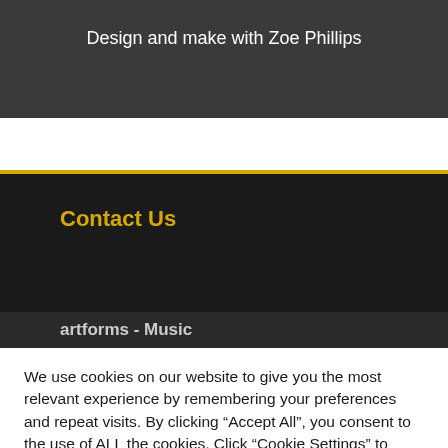Design and make with Zoe Phillips
Contact Us
artforms - Music
We use cookies on our website to give you the most relevant experience by remembering your preferences and repeat visits. By clicking “Accept All”, you consent to the use of ALL the cookies. Click “Cookie Settings” to provide a controlled consent.
Cookie Settings | Accept All